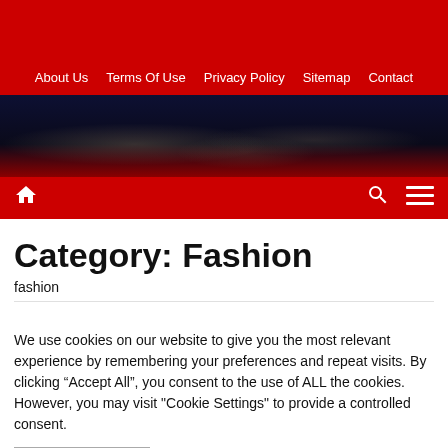About Us | Terms Of Use | Privacy Policy | Sitemap | Contact
[Figure (photo): Dark satellite/space image of Earth at night with city lights visible, with red banner below]
Home icon | Search icon | Menu icon
Category: Fashion
fashion
We use cookies on our website to give you the most relevant experience by remembering your preferences and repeat visits. By clicking “Accept All”, you consent to the use of ALL the cookies. However, you may visit "Cookie Settings" to provide a controlled consent.
Cookie Settings | Accept All